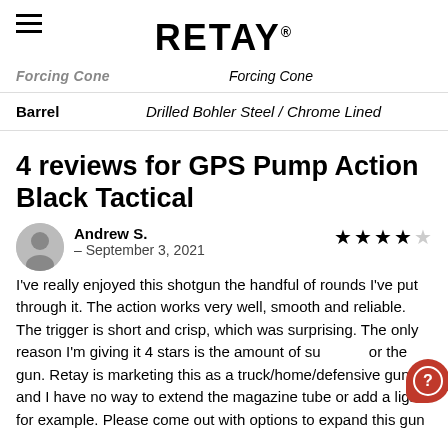RETAY®
Forcing Cone
| Barrel | Drilled Bohler Steel / Chrome Lined |
| --- | --- |
4 reviews for GPS Pump Action Black Tactical
Andrew S. – September 3, 2021
I've really enjoyed this shotgun the handful of rounds I've put through it. The action works very well, smooth and reliable. The trigger is short and crisp, which was surprising. The only reason I'm giving it 4 stars is the amount of support for the gun. Retay is marketing this as a truck/home/defensive gun and I have no way to extend the magazine tube or add a light for example. Please come out with options to expand this gun